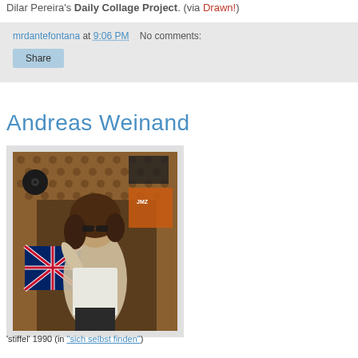Dilar Pereira's Daily Collage Project. (via Drawn!)
mrdantefontana at 9:06 PM   No comments:
Share
Andreas Weinand
[Figure (photo): Black and white/color photograph of a person with long dark hair wearing sunglasses and a white shirt, posing in front of a patterned wallpaper with a Union Jack poster and a vinyl record on the wall.]
'stiffel' 1990 (in "sich selbst finden")